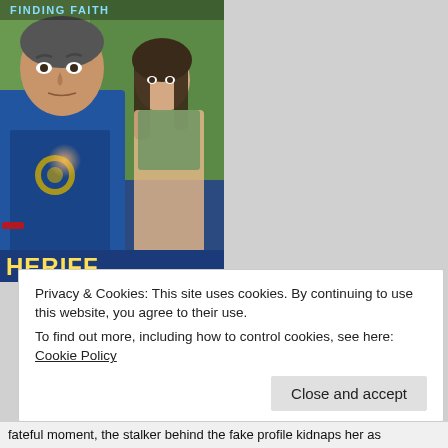[Figure (photo): Movie poster for 'Finding Faith' showing a man in a Sheriff blue vest/jacket looking alarmed in the foreground and a woman with dark hair behind him, green outdoor background. The word SHERIFF is visible at the bottom of the poster.]
Privacy & Cookies: This site uses cookies. By continuing to use this website, you agree to their use.
To find out more, including how to control cookies, see here: Cookie Policy
Close and accept
fateful moment, the stalker behind the fake profile kidnaps her as